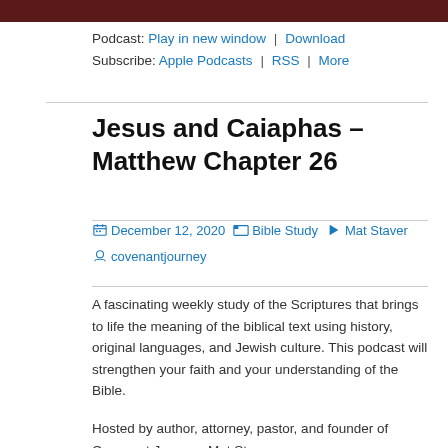[Figure (photo): Dark maroon/brown banner image at top of page]
Podcast: Play in new window | Download
Subscribe: Apple Podcasts | RSS | More
Jesus and Caiaphas – Matthew Chapter 26
December 12, 2020  Bible Study  Mat Staver  covenantjourney
A fascinating weekly study of the Scriptures that brings to life the meaning of the biblical text using history, original languages, and Jewish culture. This podcast will strengthen your faith and your understanding of the Bible.
Hosted by author, attorney, pastor, and founder of Covenant Journey, Mat Staver.